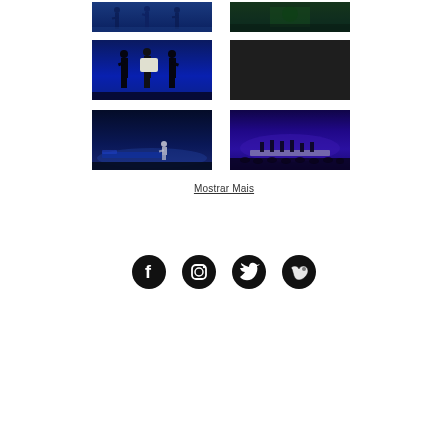[Figure (photo): Theater/dance performance photo - dancers on blue-lit stage, row 1 left]
[Figure (photo): Theater/dance performance photo - dark stage with green light, row 1 right]
[Figure (photo): Theater performance photo - performers in black with white element on blue stage, row 2 left]
[Figure (photo): Dark/nearly black theater photo, row 2 right]
[Figure (photo): Theater stage with single performer on blue-lit minimal set, row 3 left]
[Figure (photo): Theater performance with multiple dancers on purple-lit stage with audience, row 3 right]
Mostrar Mais
[Figure (logo): Social media icons: Facebook, Instagram, Twitter, Vimeo]